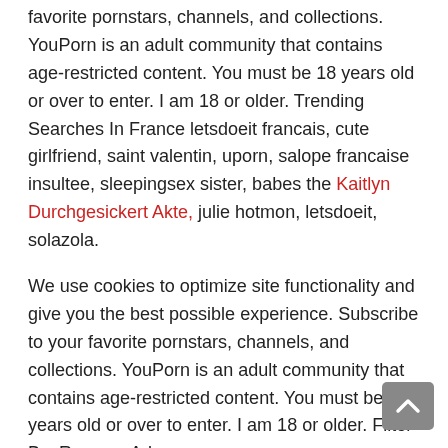favorite pornstars, channels, and collections. YouPorn is an adult community that contains age-restricted content. You must be 18 years old or over to enter. I am 18 or older. Trending Searches In France letsdoeit francais, cute girlfriend, saint valentin, uporn, salope francaise insultee, sleepingsex sister, babes the Kaitlyn Durchgesickert Akte, julie hotmon, letsdoeit, solazola.
We use cookies to optimize site functionality and give you the best possible experience. Subscribe to your favorite pornstars, channels, and collections. YouPorn is an adult community that contains age-restricted content. You must be 18 years old or over to enter. I am 18 or older. Filter By: Remove Ads.
Club Siebzehn Nackt Fotos
We use cookies to optimize site functionality and give you the best possible experience. Subscribe to your favorite pornstars, channels, and collections. YouPorn is